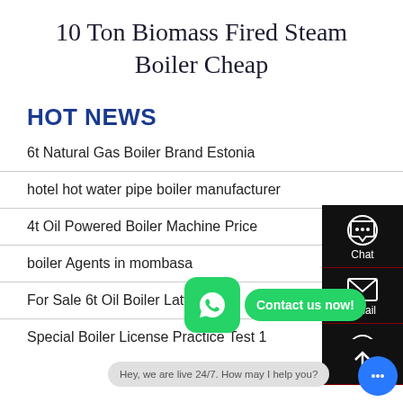10 Ton Biomass Fired Steam Boiler Cheap
HOT NEWS
6t Natural Gas Boiler Brand Estonia
hotel hot water pipe boiler manufacturer
4t Oil Powered Boiler Machine Price
boiler Agents in mombasa
For Sale 6t Oil Boiler Latvia
Special Boiler License Practice Test 1
[Figure (screenshot): Right sidebar with Chat, Email, and messaging icons on dark background; WhatsApp green icon overlay with 'Contact us now!' bubble; bottom chat bubble 'Hey, we are live 24/7. How may I help you?'; blue chat button]